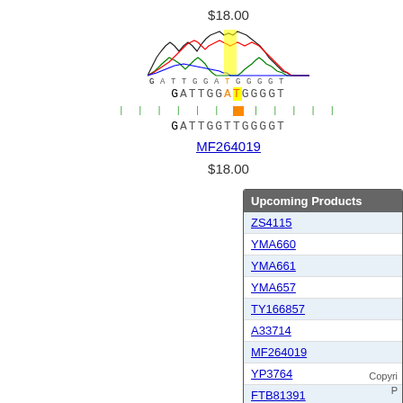$18.00
[Figure (other): DNA sequencing chromatogram showing peaks for sequence GATTGGATGGGGT with a yellow-highlighted position, with alignment to reference sequence GATTGGTTGGGGT and an M mismatch marker in orange]
MF264019
$18.00
| Upcoming Products |
| --- |
| ZS4115 |
| YMA660 |
| YMA661 |
| YMA657 |
| TY166857 |
| A33714 |
| MF264019 |
| YP3764 |
| FTB81391 |
| A32373 |
Copyright
P